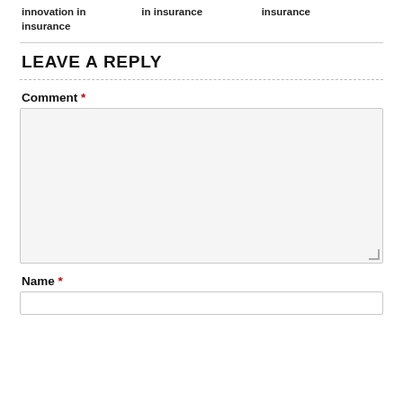innovation in insurance	in insurance	insurance
LEAVE A REPLY
Comment *
Name *